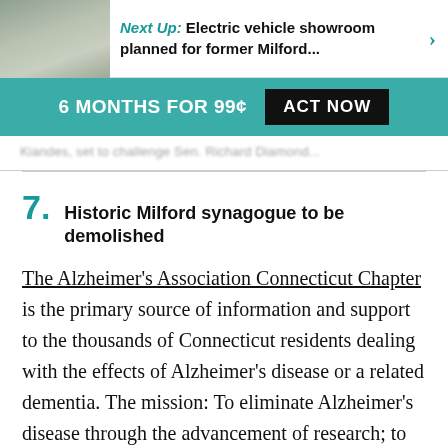Next Up: Electric vehicle showroom planned for former Milford...
6 MONTHS FOR 99¢  ACT NOW
Kiandes, set to challenge Sen. Richard Diamond...
7. Historic Milford synagogue to be demolished
The Alzheimer's Association Connecticut Chapter is the primary source of information and support to the thousands of Connecticut residents dealing with the effects of Alzheimer's disease or a related dementia. The mission: To eliminate Alzheimer's disease through the advancement of research; to provide and